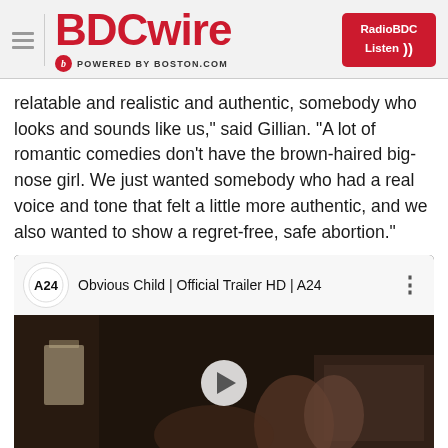BDCwire — POWERED BY BOSTON.COM
relatable and realistic and authentic, somebody who looks and sounds like us," said Gillian. "A lot of romantic comedies don't have the brown-haired big-nose girl. We just wanted somebody who had a real voice and tone that felt a little more authentic, and we also wanted to show a regret-free, safe abortion."
[Figure (screenshot): YouTube video embed showing 'Obvious Child | Official Trailer HD | A24' with A24 logo and dark video thumbnail with play button]